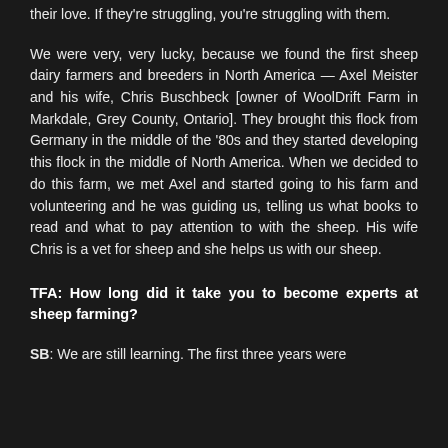their love. If they're struggling, you're struggling with them.
We were very, very lucky, because we found the first sheep dairy farmers and breeders in North America — Axel Meister and his wife, Chris Buschbeck [owner of WoolDrift Farm in Markdale, Grey County, Ontario]. They brought this flock from Germany in the middle of the '80s and they started developing this flock in the middle of North America. When we decided to do this farm, we met Axel and started going to his farm and volunteering and he was guiding us, telling us what books to read and what to pay attention to with the sheep. His wife Chris is a vet for sheep and she helps us with our sheep.
TFA: How long did it take you to become experts at sheep farming?
SB: We are still learning. The first three years were